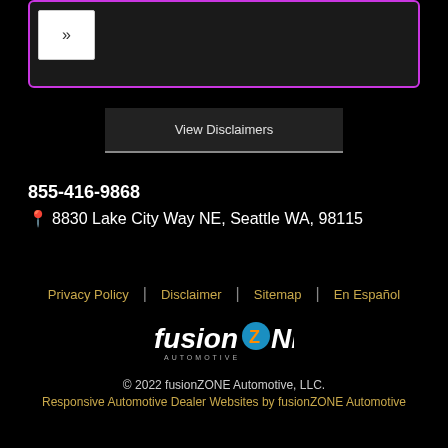[Figure (screenshot): Card area with purple border and a button showing double right-arrow (»)]
View Disclaimers
855-416-9868
📍 8830 Lake City Way NE, Seattle WA, 98115
Privacy Policy | Disclaimer | Sitemap | En Español
[Figure (logo): fusionZONE AUTOMOTIVE logo]
© 2022 fusionZONE Automotive, LLC.
Responsive Automotive Dealer Websites by fusionZONE Automotive